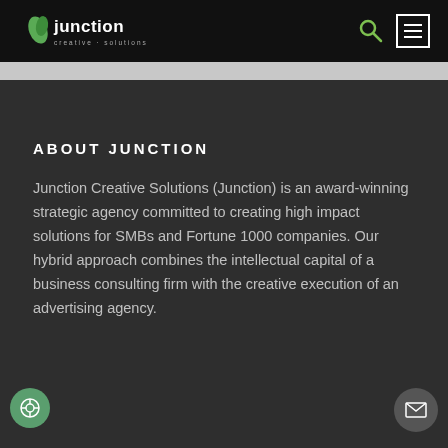Junction Creative Solutions — navigation header with logo, search icon, and menu icon
ABOUT JUNCTION
Junction Creative Solutions (Junction) is an award-winning strategic agency committed to creating high impact solutions for SMBs and Fortune 1000 companies. Our hybrid approach combines the intellectual capital of a business consulting firm with the creative execution of an advertising agency.